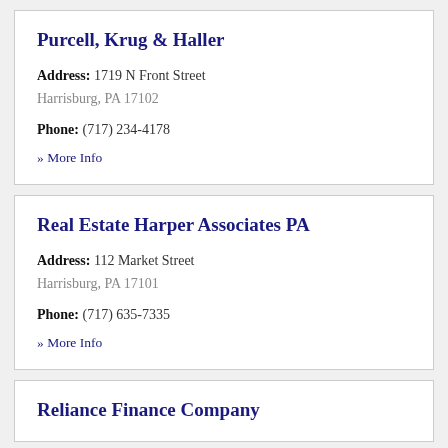Purcell, Krug & Haller
Address: 1719 N Front Street
Harrisburg, PA 17102
Phone: (717) 234-4178
» More Info
Real Estate Harper Associates PA
Address: 112 Market Street
Harrisburg, PA 17101
Phone: (717) 635-7335
» More Info
Reliance Finance Company